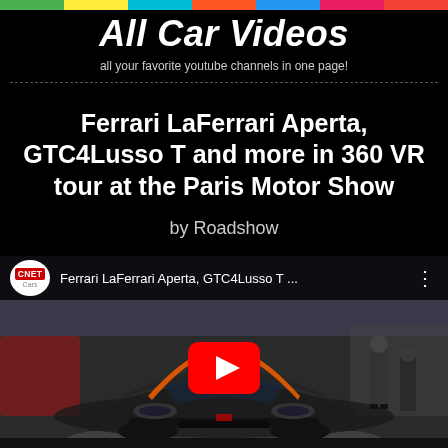[Figure (other): Horizontal color bar with segments: green, yellow, cyan, red/orange, blue, magenta/pink, red at top of page]
All Car Videos
all your favorite youtube channels in one page!
Ferrari LaFerrari Aperta, GTC4Lusso T and more in 360 VR tour at the Paris Motor Show
by Roadshow
[Figure (screenshot): Video thumbnail showing a Ferrari LaFerrari Aperta at Paris Motor Show with CNET Cars logo, video title 'Ferrari LaFerrari Aperta, GTC4Lusso T ...' in top bar, and a red YouTube play button in the center]